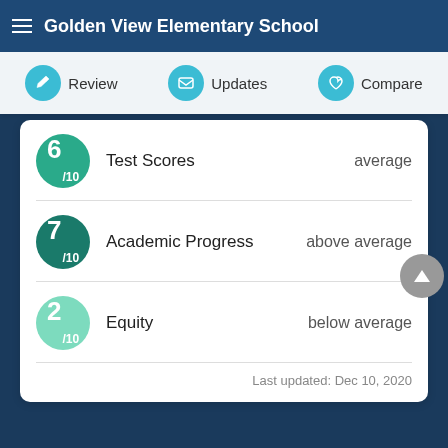Golden View Elementary School
Review | Updates | Compare
| Score | Category | Rating |
| --- | --- | --- |
| 6/10 | Test Scores | average |
| 7/10 | Academic Progress | above average |
| 2/10 | Equity | below average |
Last updated: Dec 10, 2020